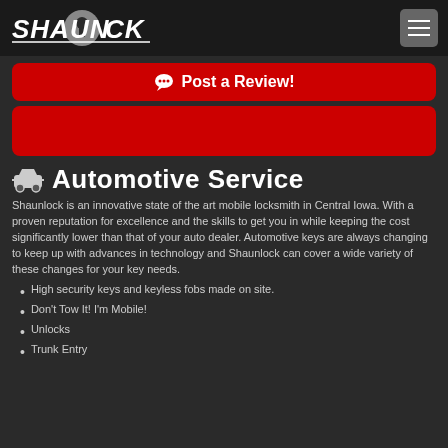SHAUNLOCK
Post a Review!
Automotive Service
Shaunlock is an innovative state of the art mobile locksmith in Central Iowa. With a proven reputation for excellence and the skills to get you in while keeping the cost significantly lower than that of your auto dealer. Automotive keys are always changing to keep up with advances in technology and Shaunlock can cover a wide variety of these changes for your key needs.
High security keys and keyless fobs made on site.
Don't Tow It! I'm Mobile!
Unlocks
Trunk Entry